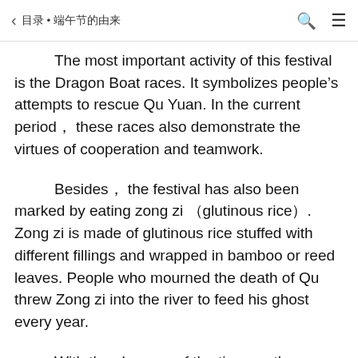◁ 目录 • 端午节的由来
The most important activity of this festival is the Dragon Boat races. It symbolizes people's attempts to rescue Qu Yuan. In the current period， these races also demonstrate the virtues of cooperation and teamwork.
Besides， the festival has also been marked by eating zong zi （glutinous rice）. Zong zi is made of glutinous rice stuffed with different fillings and wrapped in bamboo or reed leaves. People who mourned the death of Qu threw Zong zi into the river to feed his ghost every year.
With the changes of the times， the memorial turns to be a time for protection from evil and di… rest of year. People will hang healthy herbs on the front door to clear the bad luck of the house. Although the